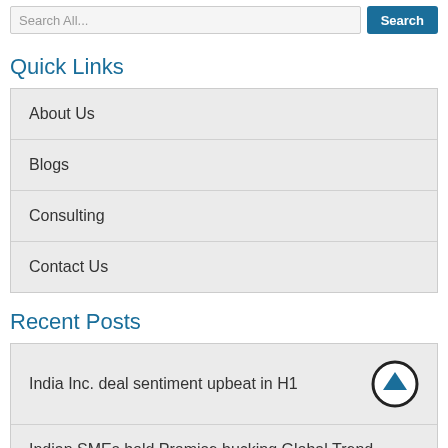Search All ... Search
Quick Links
About Us
Blogs
Consulting
Contact Us
Recent Posts
India Inc. deal sentiment upbeat in H1
Indian SMEs hold Promise bucking Global Trend